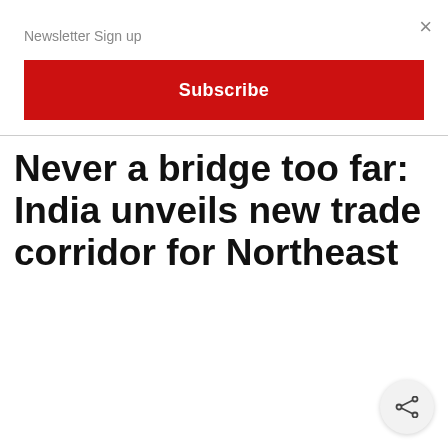Newsletter Sign up
×
Subscribe
Never a bridge too far: India unveils new trade corridor for Northeast